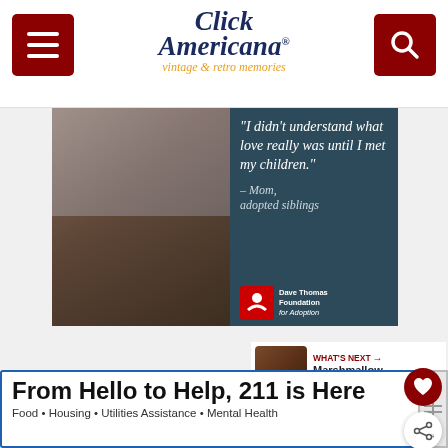Click Americana - vintage & retro memories
[Figure (photo): Advertisement from Dave Thomas Foundation for Adoption showing a Black family smiling together with quote: "I didn't understand what love really was until I met my children." – Mom, adopted siblings]
WHAT'S NEXT → Marshmallow fudge cake ...
From Hello to Help, 211 is Here – Food • Housing • Utilities Assistance • Mental Health